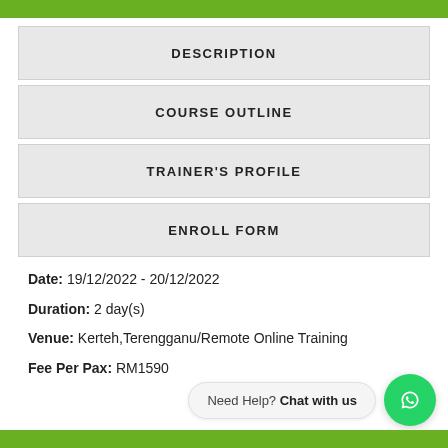DESCRIPTION
COURSE OUTLINE
TRAINER'S PROFILE
ENROLL FORM
Date: 19/12/2022 - 20/12/2022
Duration: 2 day(s)
Venue: Kerteh,Terengganu/Remote Online Training
Fee Per Pax: RM1590